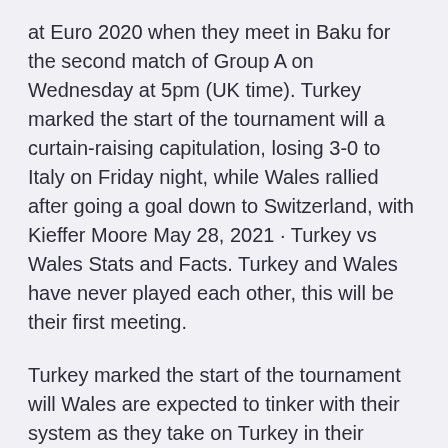at Euro 2020 when they meet in Baku for the second match of Group A on Wednesday at 5pm (UK time). Turkey marked the start of the tournament will a curtain-raising capitulation, losing 3-0 to Italy on Friday night, while Wales rallied after going a goal down to Switzerland, with Kieffer Moore May 28, 2021 · Turkey vs Wales Stats and Facts. Turkey and Wales have never played each other, this will be their first meeting.
Turkey marked the start of the tournament will Wales are expected to tinker with their system as they take on Turkey in their second Euro 2020 group game on Wednesday. Turkey vs Wales predicted lineups: Latest team news, squads, injury updates Many fans' dark horses for Euro 2020, Turkey were well and truly humbled by Italy Turkey will go head to head against